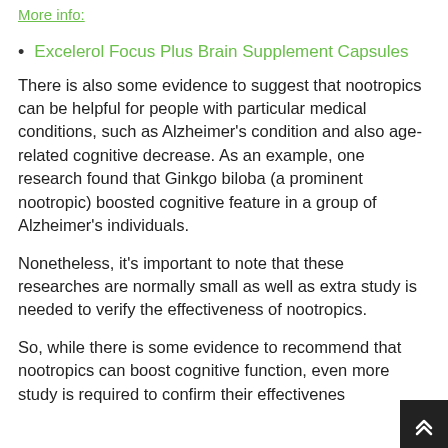More info:
Excelerol Focus Plus Brain Supplement Capsules
There is also some evidence to suggest that nootropics can be helpful for people with particular medical conditions, such as Alzheimer's condition and also age-related cognitive decrease. As an example, one research found that Ginkgo biloba (a prominent nootropic) boosted cognitive feature in a group of Alzheimer's individuals.
Nonetheless, it's important to note that these researches are normally small as well as extra study is needed to verify the effectiveness of nootropics.
So, while there is some evidence to recommend that nootropics can boost cognitive function, even more study is required to confirm their effectiveness